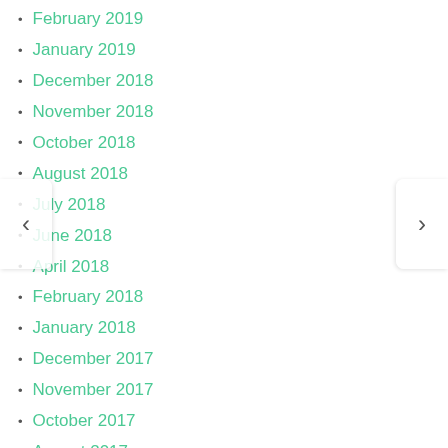February 2019
January 2019
December 2018
November 2018
October 2018
August 2018
July 2018
June 2018
April 2018
February 2018
January 2018
December 2017
November 2017
October 2017
August 2017
July 2017
June 2017
April 2017
March 2017
August 2016